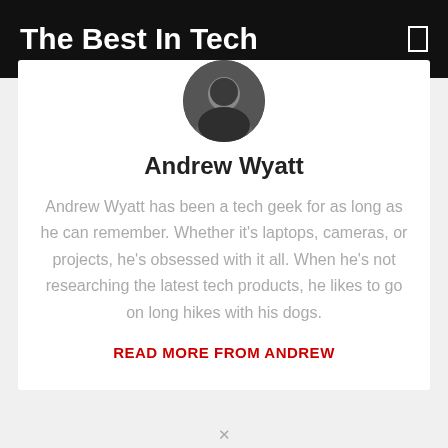The Best In Tech
[Figure (photo): Circular profile photo of Andrew Wyatt]
Andrew Wyatt
Andrew Wyatt has been a tech geek for as long as he can remember. Whether it's laptops, cameras, or projects, he's obsessed with it all. When he's not researching the latest tech products, he likes to go on long hikes with his dogs.
READ MORE FROM ANDREW